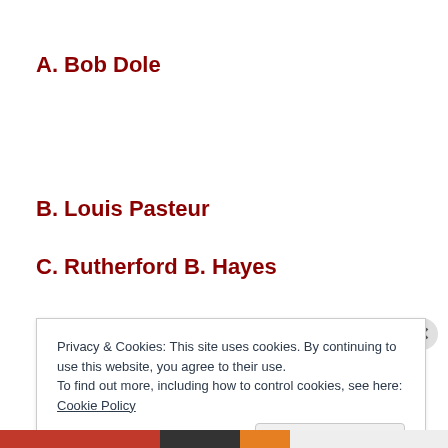A. Bob Dole
B. Louis Pasteur
C. Rutherford B. Hayes
Privacy & Cookies: This site uses cookies. By continuing to use this website, you agree to their use.
To find out more, including how to control cookies, see here: Cookie Policy
Close and accept